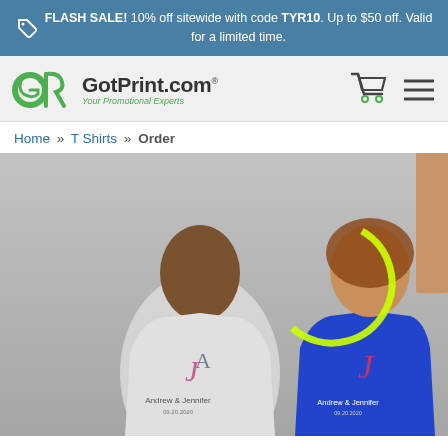FLASH SALE! 10% off sitewide with code TYR10. Up to $50 off. Valid for a limited time.
[Figure (logo): GotPrint.com logo with green GP icon and tagline 'Your Promotional Experts']
[Figure (screenshot): Shopping cart icon and hamburger menu icons in site header]
Home » T Shirts » Order
[Figure (photo): Two models wearing custom T-shirts: man in white/grey shirt with 'Andrew & Jennifer' monogram design, woman in royal blue shirt with same design. A neon green circular graphic overlays the image. A tan/peach color swatch panel is visible on the right edge.]